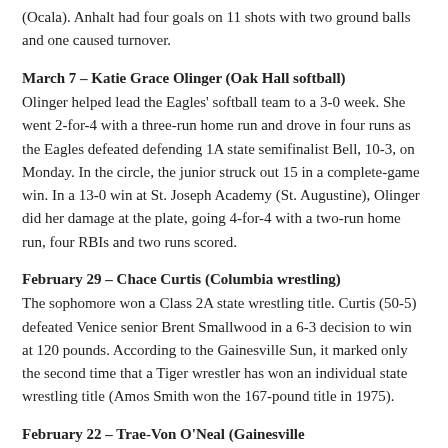(Ocala). Anhalt had four goals on 11 shots with two ground balls and one caused turnover.
March 7 – Katie Grace Olinger (Oak Hall softball)
Olinger helped lead the Eagles' softball team to a 3-0 week. She went 2-for-4 with a three-run home run and drove in four runs as the Eagles defeated defending 1A state semifinalist Bell, 10-3, on Monday. In the circle, the junior struck out 15 in a complete-game win. In a 13-0 win at St. Joseph Academy (St. Augustine), Olinger did her damage at the plate, going 4-for-4 with a two-run home run, four RBIs and two runs scored.
February 29 – Chace Curtis (Columbia wrestling)
The sophomore won a Class 2A state wrestling title. Curtis (50-5) defeated Venice senior Brent Smallwood in a 6-3 decision to win at 120 pounds. According to the Gainesville Sun, it marked only the second time that a Tiger wrestler has won an individual state wrestling title (Amos Smith won the 167-pound title in 1975).
February 22 – Trae-Von O'Neal (Gainesville